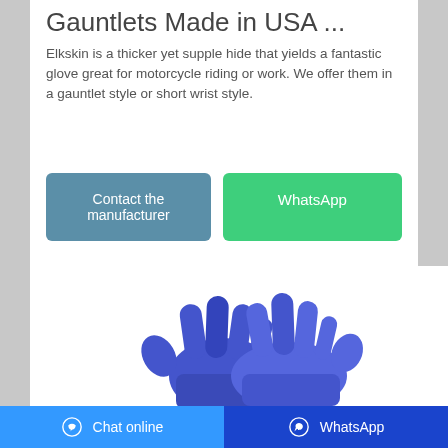Gauntlets Made in USA ...
Elkskin is a thicker yet supple hide that yields a fantastic glove great for motorcycle riding or work. We offer them in a gauntlet style or short wrist style.
[Figure (screenshot): Two buttons: 'Contact the manufacturer' (teal/blue) and 'WhatsApp' (green)]
[Figure (photo): Two blue elkskin gloves overlapping each other on a white background]
Chat online   WhatsApp